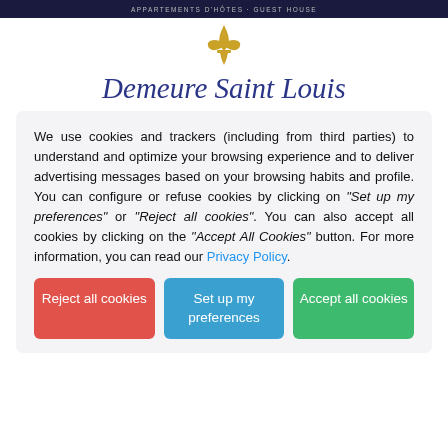APPARTEMENTS D'HÔTES · GUEST HOUSE
[Figure (illustration): Gold fleur-de-lis style decorative logo]
Demeure Saint Louis
We use cookies and trackers (including from third parties) to understand and optimize your browsing experience and to deliver advertising messages based on your browsing habits and profile. You can configure or refuse cookies by clicking on "Set up my preferences" or "Reject all cookies". You can also accept all cookies by clicking on the "Accept All Cookies" button. For more information, you can read our Privacy Policy.
Reject all cookies
Set up my preferences
Accept all cookies